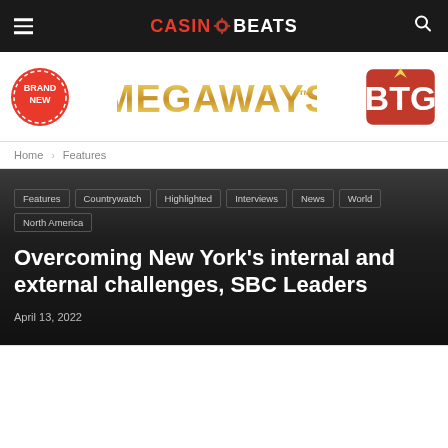CASINO BEATS
[Figure (advertisement): Brand New Megaways BTG advertisement banner with red badge, gold Megaways logo, and BTG red shield logo]
Home > Features
Features
Countrywatch
Highlighted
Interviews
News
World
North America
Overcoming New York’s internal and external challenges, SBC Leaders
April 13, 2022